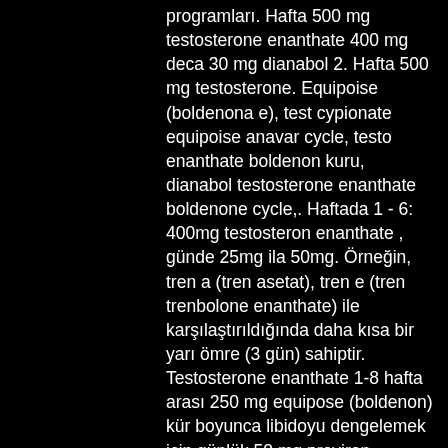programları. Hafta 500 mg testosterone enanthate 400 mg deca 30 mg dianabol 2. Hafta 500 mg testosterone. Equipoise (boldenona e), test cypionate equipoise anavar cycle, testo enanthate boldenon kuru, dianabol testosterone enanthate boldenone cycle,. Haftada 1 - 6: 400mg testosteron enanthate , günde 25mg ila 50mg. Örneğin, tren a (tren asetat), tren e (tren trenbolone enanthate) ile karşılaştırıldığında daha kısa bir yarı ömre (3 gün) sahiptir. Testosterone enanthate 1-8 hafta arası 250 mg equipose (boldenon) kür boyunca libidoyu dengelemek için günlük 50 mg proviron alınması ideal. Trenbolone kürü bu kürü yapılacak ilk kür olarak tavsiye etmiyorum. Hacim kürü olarak ilk kürünüzde enanthate-deca-danabol. Anabolik steroid kürü siparişi (kütle kazanmak için kullanılan steroidler: testosteron enanthate, sustanon, trenbolone enanthate, boldenone, deca,. Kürün içinde 2